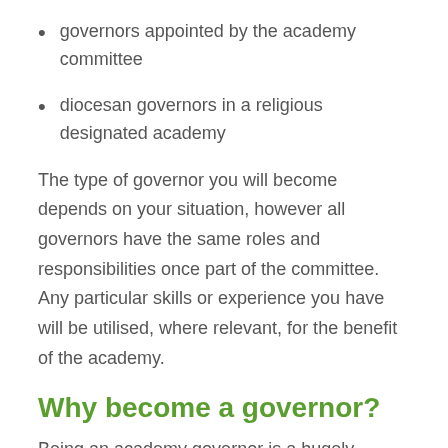governors appointed by the academy committee
diocesan governors in a religious designated academy
The type of governor you will become depends on your situation, however all governors have the same roles and responsibilities once part of the committee. Any particular skills or experience you have will be utilised, where relevant, for the benefit of the academy.
Why become a governor?
Being an academy governor is a hugely rewarding